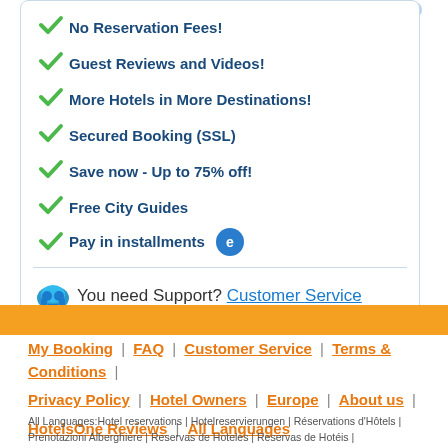No Reservation Fees!
Guest Reviews and Videos!
More Hotels in More Destinations!
Secured Booking (SSL)
Save now - Up to 75% off!
Free City Guides
Pay in installments
You need Support? Customer Service
My Booking | FAQ | Customer Service | Terms & Conditions | Privacy Policy | Hotel Owners | Europe | About us | HotelsOne Reviews | All Languages
All Languages:Hotel reservations | Hotelreservierungen | Réservations d'Hôtels | Prenotazioni Alberghiere | Reservas de Hoteles | Reservas de Hotéis |